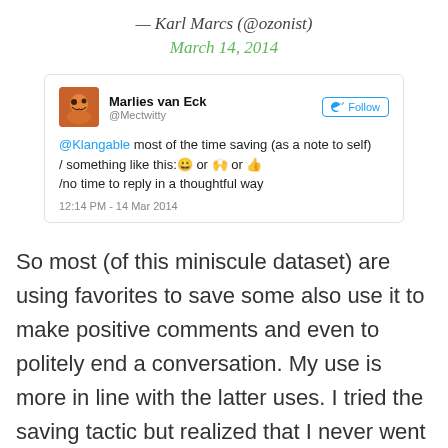— Karl Marcs (@ozonist)
March 14, 2014
[Figure (screenshot): Embedded tweet from Marlies van Eck (@Mectwitty) saying: @Klangable most of the time saving (as a note to self) / something like this: [emoji] or [emoji] or [emoji] /no time to reply in a thoughtful way. Timestamp: 12:14 PM - 14 Mar 2014]
So most (of this miniscule dataset) are using favorites to save some also use it to make positive comments and even to politely end a conversation. My use is more in line with the latter uses. I tried the saving tactic but realized that I never went back and looked at anything saved. Which somehow defeats the